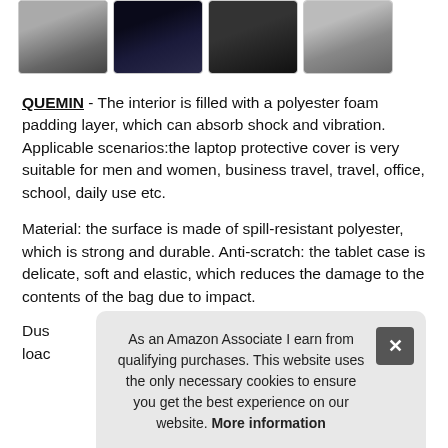[Figure (photo): Four product thumbnail images of laptop/tablet cases in a row]
QUEMIN - The interior is filled with a polyester foam padding layer, which can absorb shock and vibration. Applicable scenarios:the laptop protective cover is very suitable for men and women, business travel, travel, office, school, daily use etc.
Material: the surface is made of spill-resistant polyester, which is strong and durable. Anti-scratch: the tablet case is delicate, soft and elastic, which reduces the damage to the contents of the bag due to impact.
Dus... load...
As an Amazon Associate I earn from qualifying purchases. This website uses the only necessary cookies to ensure you get the best experience on our website. More information